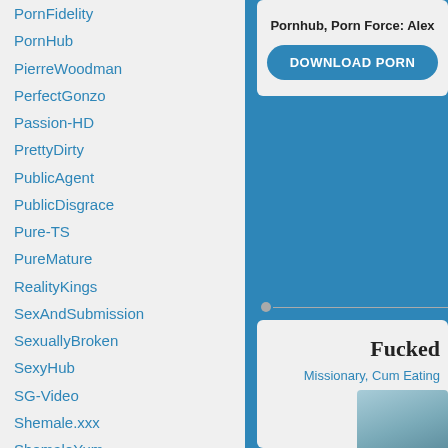PornFidelity
PornHub
PierreWoodman
PerfectGonzo
Passion-HD
PrettyDirty
PublicAgent
PublicDisgrace
Pure-TS
PureMature
RealityKings
SexAndSubmission
SexuallyBroken
SexyHub
SG-Video
Shemale.xxx
ShemaleYum
Tushy
Tiny4K
TeenFidelity
TeamSkeet
Tainster
TSPussyHunters
TSSeduction
Pornhub, Porn Force: Alex
DOWNLOAD PORN
Fucked
Missionary, Cum Eating